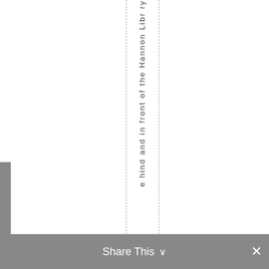e hi n d a n d in fr o nt of th e H a n n o n Li b r ry
Share This ∨  ✕